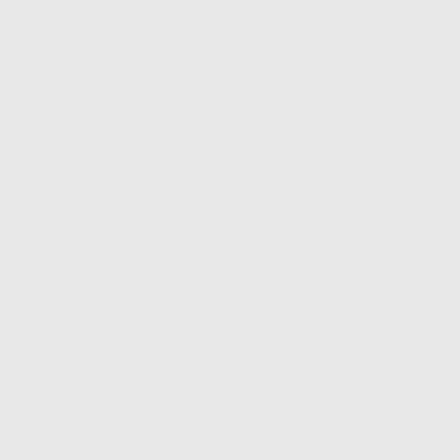re-entering their box, struggling after a long and admirable address seat upon the bench.

" If we lose the verdict, sir," sa goodness," said the associate, " t Godolphin that execrable little p but made were thus called over, a

took their pens, and, turning over summing up the case to the jury, No- dict. As soon as all the juryn silence ensued. ease with which b the meshes in which the associate Do you find verdict for and the A explained to them the gen. " For on which the officer, amidst a ca proved by the plaintiff, and the a court upon the record, muttered— shilling. took the same view whi take. He functionary bawled out, " Have consider the case, taking been handed the jury. You will b disgust and should require his as room for an hour tors. and the a